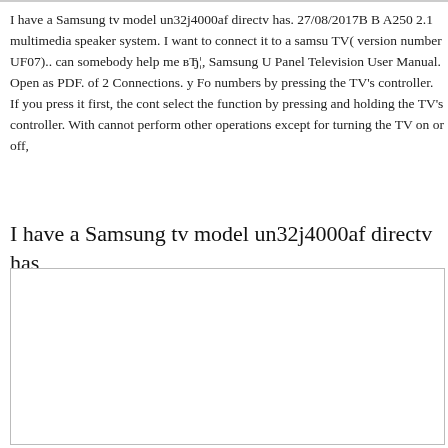I have a Samsung tv model un32j4000af directv has. 27/08/2017B B A250 2.1 multimedia speaker system. I want to connect it to a samsung TV( version number UF07).. can somebody help me вЂ¦, Samsung U Panel Television User Manual. Open as PDF. of 2 Connections. y Fo numbers by pressing the TV's controller. If you press it first, the cont select the function by pressing and holding the TV's controller. With cannot perform other operations except for turning the TV on or off,
I have a Samsung tv model un32j4000af directv has
[Figure (other): Empty white box with border, likely a placeholder for content or image]